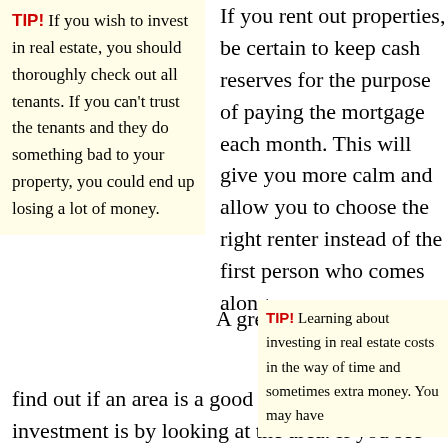TIP! If you wish to invest in real estate, you should thoroughly check out all tenants. If you can't trust the tenants and they do something bad to your property, you could end up losing a lot of money.
If you rent out properties, be certain to keep cash reserves for the purpose of paying the mortgage each month. This will give you more calm and allow you to choose the right renter instead of the first person who comes along.
A great way to find out if an area is a good financial investment is by looking at the area. If you see a lot of vacant businesses and apartments
TIP! Learning about investing in real estate costs in the way of time and sometimes extra money. You may have